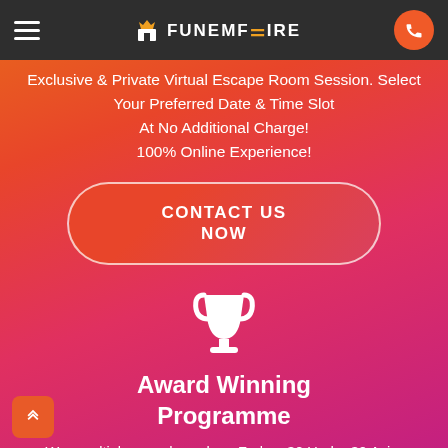FunEmpire navigation bar with hamburger menu and phone button
Exclusive & Private Virtual Escape Room Session. Select Your Preferred Date & Time Slot At No Additional Charge! 100% Online Experience!
CONTACT US NOW
[Figure (illustration): Trophy icon in white]
Award Winning Programme
Won multiple awards such as Forbes 30 Under 30 Asia, APAC Insider Southeast Asia Business